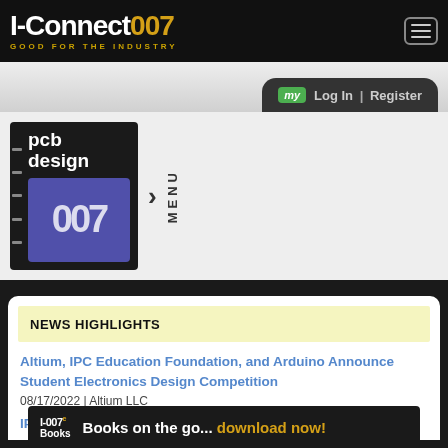I-Connect007 | GOOD FOR THE INDUSTRY
[Figure (logo): PCB Design 007 logo with menu arrow]
my  Log In  |  Register
NEWS HIGHLIGHTS
Altium, IPC Education Foundation, and Arduino Announce Student Electronics Design Competition
08/17/2022 | Altium LLC
IPC Training Course on PCB Design for
[Figure (logo): I-007e Books banner: Books on the go... download now!]